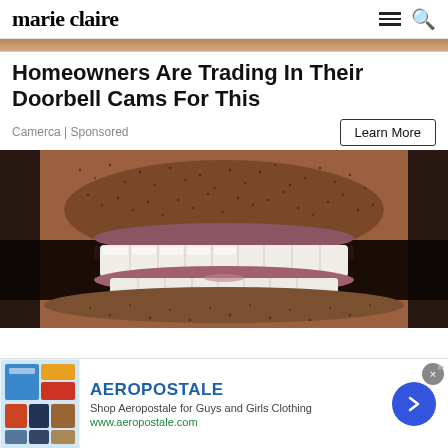marie claire
Homeowners Are Trading In Their Doorbell Cams For This
Camerca | Sponsored
Learn More
[Figure (photo): Close-up photograph of a man's mouth showing bright white teeth and stubble facial hair]
[Figure (photo): Aeropostale advertisement banner showing clothing items and brand name with a blue arrow button]
AEROPOSTALE
Shop Aeropostale for Guys and Girls Clothing
www.aeropostale.com